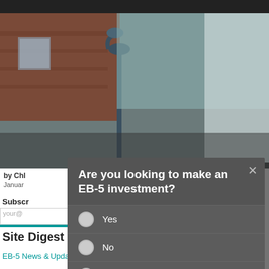[Figure (screenshot): Website screenshot showing a hero image of a street lamp against a brick building background, with partial page elements visible including author byline, date, subscribe section, and a modal dialog overlay.]
Are you looking to make an EB-5 investment?
Yes
No
Other
Send
Site Digest
EB-5 News & Updates #295 August 18-25